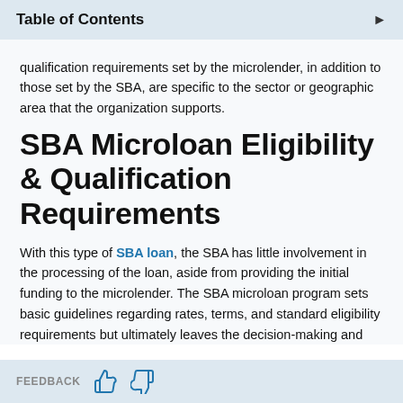Table of Contents
qualification requirements set by the microlender, in addition to those set by the SBA, are specific to the sector or geographic area that the organization supports.
SBA Microloan Eligibility & Qualification Requirements
With this type of SBA loan, the SBA has little involvement in the processing of the loan, aside from providing the initial funding to the microlender. The SBA microloan program sets basic guidelines regarding rates, terms, and standard eligibility requirements but ultimately leaves the decision-making and
FEEDBACK